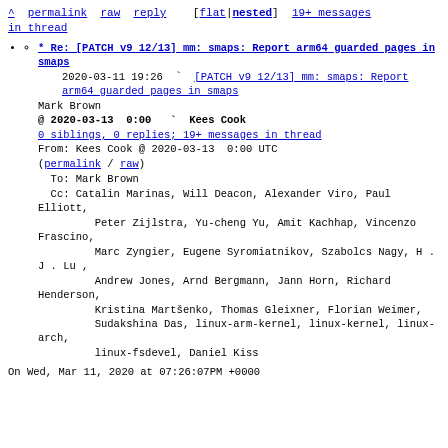^ permalink  raw  reply    [flat|nested]  19+ messages in thread
* Re: [PATCH v9 12/13] mm: smaps: Report arm64 guarded pages in smaps
2020-03-11 19:26 ` [PATCH v9 12/13] mm: smaps: Report arm64 guarded pages in smaps
Mark Brown
@ 2020-03-13  0:00  ` Kees Cook
0 siblings, 0 replies; 19+ messages in thread
From: Kees Cook @ 2020-03-13  0:00 UTC (permalink / raw)
To: Mark Brown
Cc: Catalin Marinas, Will Deacon, Alexander Viro, Paul Elliott,
        Peter Zijlstra, Yu-cheng Yu, Amit Kachhap, Vincenzo Frascino,
        Marc Zyngier, Eugene Syromiatnikov, Szabolcs Nagy, H . J . Lu ,
        Andrew Jones, Arnd Bergmann, Jann Horn, Richard Henderson,
        Kristina Martšenko, Thomas Gleixner, Florian Weimer,
        Sudakshina Das, linux-arm-kernel, linux-kernel, linux-arch,
        linux-fsdevel, Daniel Kiss
On Wed, Mar 11, 2020 at 07:26:07PM +0000